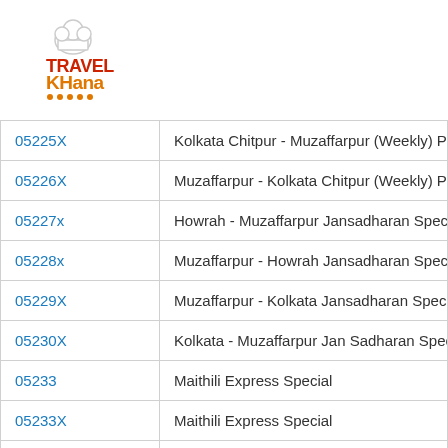[Figure (logo): TravelKhana logo with chef hat icon, red and orange text]
| 05225X | Kolkata Chitpur - Muzaffarpur (Weekly) Pu |
| 05226X | Muzaffarpur - Kolkata Chitpur (Weekly) Pu |
| 05227x | Howrah - Muzaffarpur Jansadharan Speci |
| 05228x | Muzaffarpur - Howrah Jansadharan Speci |
| 05229X | Muzaffarpur - Kolkata Jansadharan Speci |
| 05230X | Kolkata - Muzaffarpur Jan Sadharan Speci |
| 05233 | Maithili Express Special |
| 05233X | Maithili Express Special |
| 05234 | Maithili Express Special (PT) |
| 05234X | Maithili Express Special (PT) |